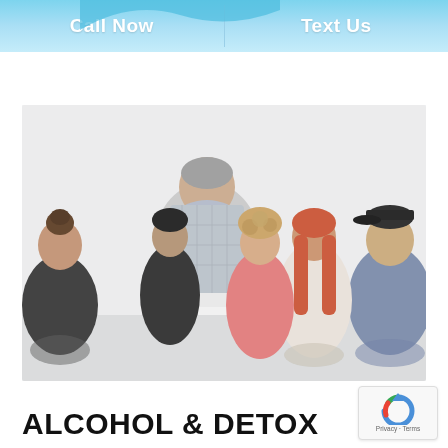Call Now | Text Us
[Figure (photo): Group therapy session with several young adults sitting in a circle listening to a counselor or therapist whose back is to the camera. Bright white room setting.]
ALCOHOL & DETOX